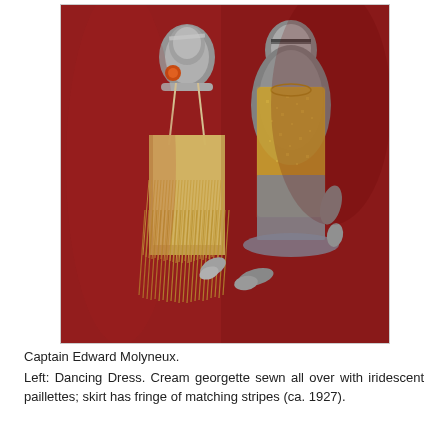[Figure (photo): Two silver mannequins against a red background. Left mannequin wears a cream georgette dancing dress with fringe of matching stripes. Right mannequin wears a shorter sequined dress. Fashion photo circa 1927, Captain Edward Molyneux designs.]
Captain Edward Molyneux. Left: Dancing Dress. Cream georgette sewn all over with iridescent paillettes; skirt has fringe of matching stripes (ca. 1927).